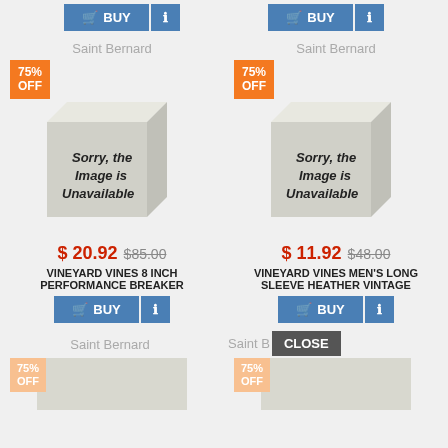[Figure (screenshot): Two product listing cards with BUY buttons at top (partial), store labels, product images (unavailable placeholder), prices, product names, and BUY buttons. Bottom row shows store labels and partial product cards with 75% OFF badges.]
Saint Bernard
Saint Bernard
$ 20.92  $85.00
VINEYARD VINES 8 INCH PERFORMANCE BREAKER
$ 11.92  $48.00
VINEYARD VINES MEN'S LONG SLEEVE HEATHER VINTAGE
Saint Bernard
Saint B... CLOSE